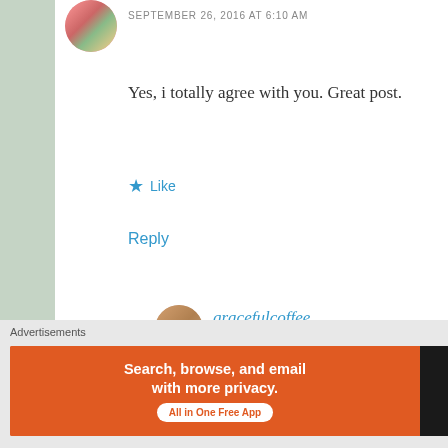SEPTEMBER 26, 2016 AT 6:10 AM
Yes, i totally agree with you. Great post.
★ Like
Reply
gracefulcoffee
SEPTEMBER 26, 2016 AT 12:28 PM
Thanks, Vidya. I hope you have a gre
Blessings,
Edye
Advertisements
[Figure (screenshot): DuckDuckGo advertisement banner: orange background with text 'Search, browse, and email with more privacy. All in One Free App' and DuckDuckGo logo on dark background]